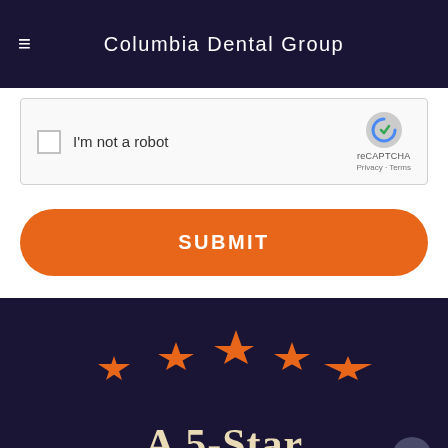Columbia Dental Group
[Figure (screenshot): reCAPTCHA widget with checkbox labeled 'I'm not a robot' and reCAPTCHA logo with Privacy - Terms links]
SUBMIT
[Figure (illustration): Five orange stars arranged in an arc on a dark navy background]
A 5-Star